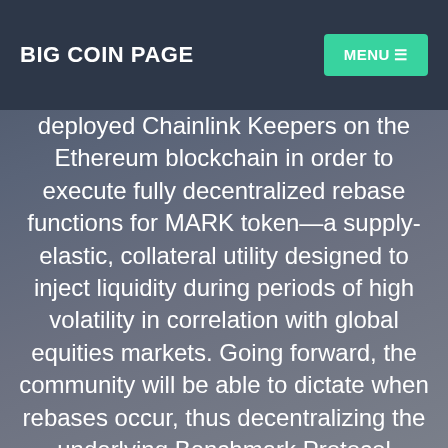BIG COIN PAGE
deployed Chainlink Keepers on the Ethereum blockchain in order to execute fully decentralized rebase functions for MARK token—a supply-elastic, collateral utility designed to inject liquidity during periods of high volatility in correlation with global equities markets. Going forward, the community will be able to dictate when rebases occur, thus decentralizing the underlying Benchmark Protocol Network even further. The integration of